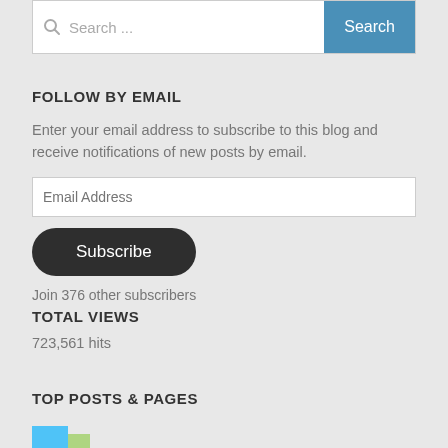Search ...
FOLLOW BY EMAIL
Enter your email address to subscribe to this blog and receive notifications of new posts by email.
Email Address
Subscribe
Join 376 other subscribers
TOTAL VIEWS
723,561 hits
TOP POSTS & PAGES